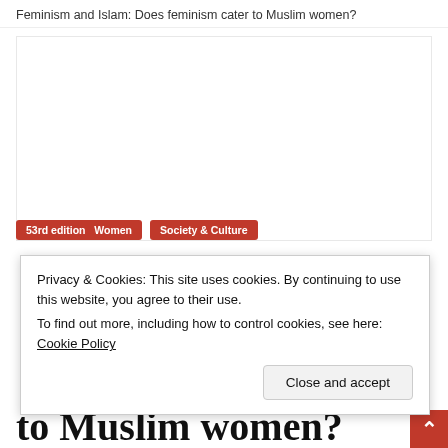Feminism and Islam: Does feminism cater to Muslim women?
[Figure (photo): Large blank/white image area placeholder for article featured image]
53rd edition   Women   Society & Culture
Privacy & Cookies: This site uses cookies. By continuing to use this website, you agree to their use.
To find out more, including how to control cookies, see here: Cookie Policy
Close and accept
to Muslim women?